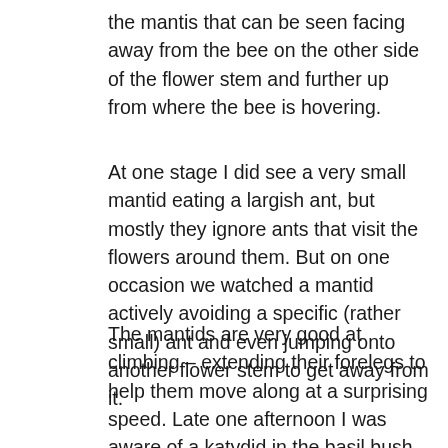the mantis that can be seen facing away from the bee on the other side of the flower stem and further up from where the bee is hovering.
At one stage I did see a very small mantid eating a largish ant, but mostly they ignore ants that visit the flowers around them. But on one occasion we watched a mantid actively avoiding a specific (rather small) ant and even jumping onto another flower stem to get away from it.
The mantids are very good at climbing – extending their forelegs to help them move along at a surprising speed. Late one afternoon I was aware of a katydid in the basil bush but on a different stem and some distance away from the closest mantid. Suddenly the mantid started moving fast, I got distracted but then saw it had jumped onto the